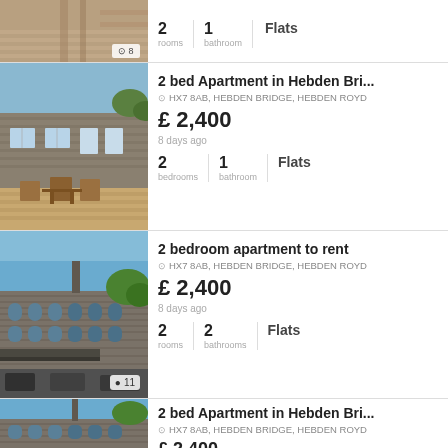[Figure (photo): Partial top listing: wooden deck/stairs photo with photo count badge showing 8 photos]
2 rooms | 1 bathroom | Flats
2 bed Apartment in Hebden Bri...
HX7 8AB, HEBDEN BRIDGE, HEBDEN ROYD
£ 2,400
8 days ago
2 bedrooms | 1 bathroom | Flats
[Figure (photo): Stone apartment building with outdoor wooden deck and chairs]
2 bedroom apartment to rent
HX7 8AB, HEBDEN BRIDGE, HEBDEN ROYD
£ 2,400
8 days ago
2 rooms | 2 bathrooms | Flats
[Figure (photo): Large stone mill building with blue sky, photo count badge showing 11 photos]
2 bed Apartment in Hebden Bri...
HX7 8AB, HEBDEN BRIDGE, HEBDEN ROYD
£ 2,400
[Figure (photo): Stone mill building with blue sky, partial view at bottom]